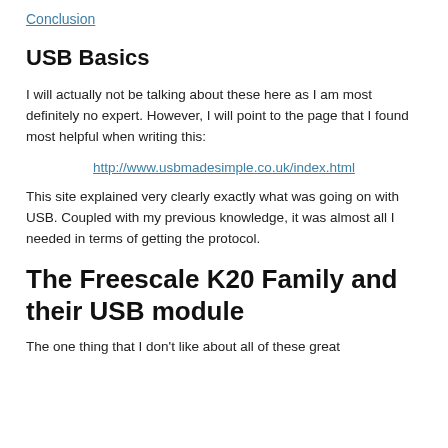Conclusion
USB Basics
I will actually not be talking about these here as I am most definitely no expert. However, I will point to the page that I found most helpful when writing this:
http://www.usbmadesimple.co.uk/index.html
This site explained very clearly exactly what was going on with USB. Coupled with my previous knowledge, it was almost all I needed in terms of getting the protocol.
The Freescale K20 Family and their USB module
The one thing that I don't like about all of these great